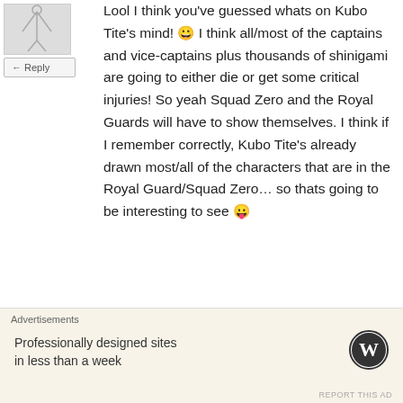[Figure (illustration): User avatar image showing a small sketch/illustration, gray background]
← Reply
Lool I think you've guessed whats on Kubo Tite's mind! 😀 I think all/most of the captains and vice-captains plus thousands of shinigami are going to either die or get some critical injuries! So yeah Squad Zero and the Royal Guards will have to show themselves. I think if I remember correctly, Kubo Tite's already drawn most/all of the characters that are in the Royal Guard/Squad Zero… so thats going to be interesting to see 😛
★ Like
[Figure (illustration): User avatar for Ne3X7, reddish/dark illustration]
Ne3X7
Advertisements
Professionally designed sites in less than a week